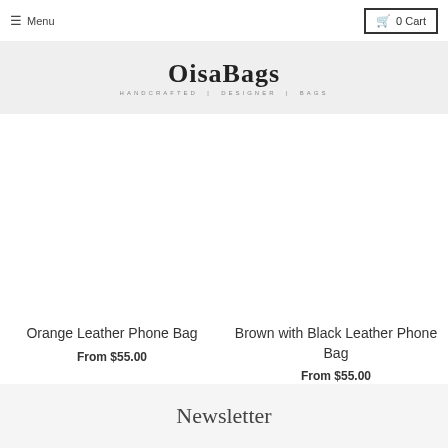Menu | 0 Cart
[Figure (logo): OisaBags logo with tagline HANDCRAFTED | DESIGNER | BAGS]
Orange Leather Phone Bag
From $55.00
Brown with Black Leather Phone Bag
From $55.00
Newsletter